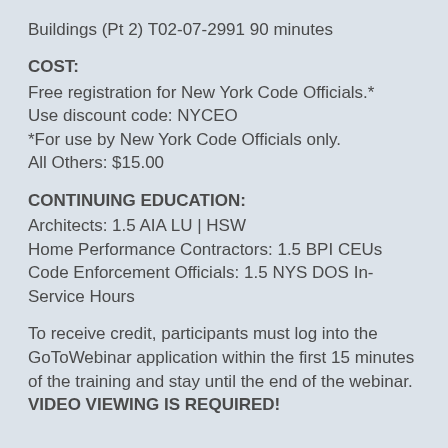Buildings (Pt 2) T02-07-2991 90 minutes
COST:
Free registration for New York Code Officials.*
Use discount code: NYCEO
*For use by New York Code Officials only.
All Others: $15.00
CONTINUING EDUCATION:
Architects: 1.5 AIA LU | HSW
Home Performance Contractors: 1.5 BPI CEUs
Code Enforcement Officials: 1.5 NYS DOS In-Service Hours
To receive credit, participants must log into the GoToWebinar application within the first 15 minutes of the training and stay until the end of the webinar. VIDEO VIEWING IS REQUIRED!